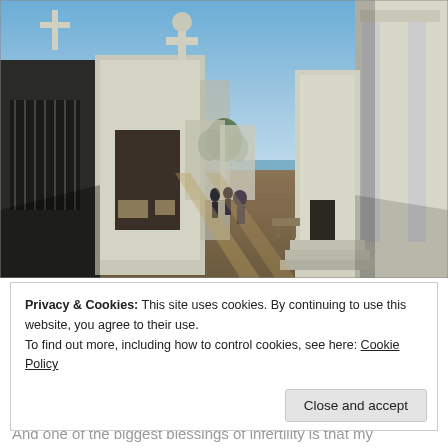[Figure (photo): Photograph of a cemetery walkway (likely Recoleta Cemetery, Buenos Aires) with white marble mausoleums and tombs lining both sides of a brick-paved path, people walking in the distance, blue sky above.]
Privacy & Cookies: This site uses cookies. By continuing to use this website, you agree to their use.
To find out more, including how to control cookies, see here: Cookie Policy
Close and accept
And one of the biggest blessings of infertility is that my